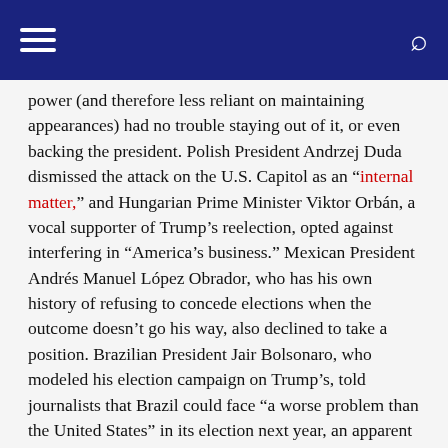[Navigation header with hamburger menu and search icon]
power (and therefore less reliant on maintaining appearances) had no trouble staying out of it, or even backing the president. Polish President Andrzej Duda dismissed the attack on the U.S. Capitol as an “internal matter,” and Hungarian Prime Minister Viktor Orbán, a vocal supporter of Trump’s reelection, opted against interfering in “America’s business.” Mexican President Andrés Manuel López Obrador, who has his own history of refusing to concede elections when the outcome doesn’t go his way, also declined to take a position. Brazilian President Jair Bolsonaro, who modeled his election campaign on Trump’s, told journalists that Brazil could face “a worse problem than the United States” in its election next year, an apparent suggestion that he may follow the Trump playbook once more.
For a while, other like-minded leaders seemed to be laying the groundwork to do the same. But by egging on his most violent supporters, Trump may have deterred other populists from hitching their wagons to a fallen star.